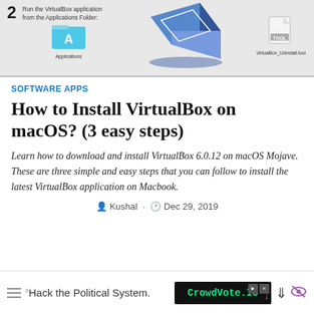[Figure (screenshot): Screenshot showing step 2 of VirtualBox installation on macOS: Run the VirtualBox application from the Applications Folder. Shows the blue Applications folder icon labeled 'Applications', the VirtualBox 3D box logo, and a document icon labeled 'VirtualBox_Uninstall.tool'.]
SOFTWARE APPS
How to Install VirtualBox on macOS? (3 easy steps)
Learn how to download and install VirtualBox 6.0.12 on macOS Mojave. These are three simple and easy steps that you can follow to install the latest VirtualBox application on Macbook.
Kushal · Dec 29, 2019
[Figure (screenshot): Bottom ad bar showing hamburger menu icon, 'Hack the Political System.' text advertisement, and a CrowdVote.IO ad box with play and close buttons, plus download and eye-slash icons.]